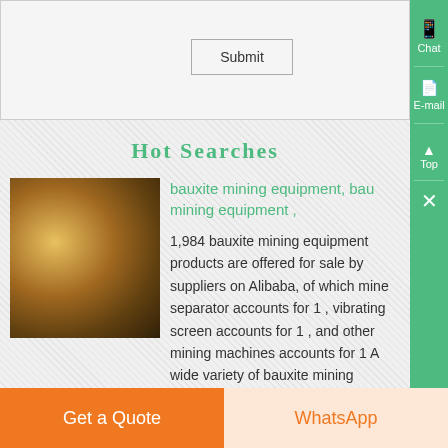Submit
Hot Searches
[Figure (photo): Close-up photo of bauxite ore or mining equipment, showing golden-brown metallic/mineral surface texture]
bauxite mining equipment, bauxite mining equipment ,
1,984 bauxite mining equipment products are offered for sale by suppliers on Alibaba, of which mine separator accounts for 1 , vibrating screen accounts for 1 , and other mining machines accounts for 1 A wide variety of bauxite mining equipment options are available to you, such as none, chile, and united
Get a Quote
WhatsApp